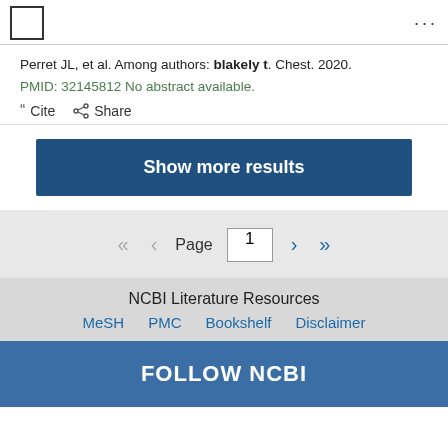Perret JL, et al. Among authors: blakely t. Chest. 2020. PMID: 32145812 No abstract available.
““ Cite   Share
Show more results
Page 1
NCBI Literature Resources
MeSH   PMC   Bookshelf   Disclaimer
FOLLOW NCBI